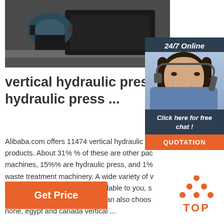[Figure (photo): Photo of a vertical hydraulic press machine, dark industrial equipment with electric motor visible, shot in a warehouse/factory setting]
[Figure (infographic): 24/7 Online chat overlay with a customer service representative (woman with headset), dark navy background, with 'Click here for free chat!' text and an orange QUOTATION button]
vertical hydraulic press, vertical hydraulic press ...
Alibaba.com offers 11474 vertical hydraulic press products. About 31% % of these are other packaging machines, 15%% are hydraulic press, and 1% are waste treatment machinery. A wide variety of vertical hydraulic press options are available to you, such as 1 year, 2 years and 3 years.You can also choose from none, egypt and canada vertical ...
[Figure (other): Orange 'Get Price' button]
[Figure (logo): TOP logo with orange dots arranged in a triangle above the word TOP in orange]